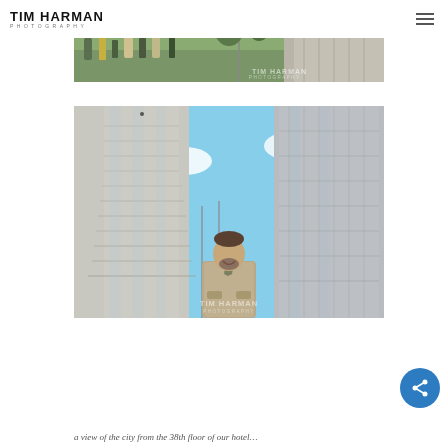TIM HARMAN PHOTOGRAPHY
[Figure (photo): Partial view of a city park scene with people and a large stone or metal sculpture/structure, with TIM HARMAN PHOTOGRAPHY watermark]
[Figure (photo): Low-angle photo of a man standing between two tall skyscrapers (Jin Mao Tower and Shanghai World Financial Center) against a blue sky with clouds, with TIM HARMAN watermark]
a view of the city from the 38th floor of our hotel…